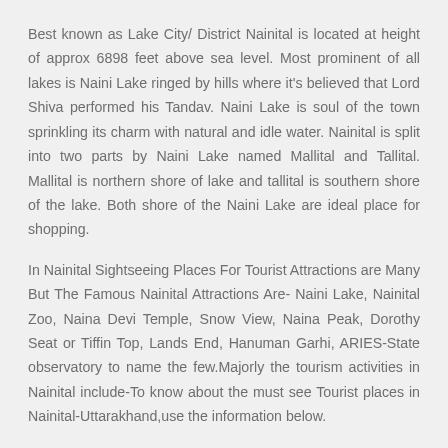Best known as Lake City/ District Nainital is located at height of approx 6898 feet above sea level. Most prominent of all lakes is Naini Lake ringed by hills where it's believed that Lord Shiva performed his Tandav. Naini Lake is soul of the town sprinkling its charm with natural and idle water. Nainital is split into two parts by Naini Lake named Mallital and Tallital. Mallital is northern shore of lake and tallital is southern shore of the lake. Both shore of the Naini Lake are ideal place for shopping.
In Nainital Sightseeing Places For Tourist Attractions are Many But The Famous Nainital Attractions Are- Naini Lake, Nainital Zoo, Naina Devi Temple, Snow View, Naina Peak, Dorothy Seat or Tiffin Top, Lands End, Hanuman Garhi, ARIES-State observatory to name the few.Majorly the tourism activities in Nainital include-To know about the must see Tourist places in Nainital-Uttarakhand,use the information below.
Allseasonsz.com largest Nainital Travel Agent's,Tour Operator's, Inbound travel company India offers, Nainital-car rentals, Nainital